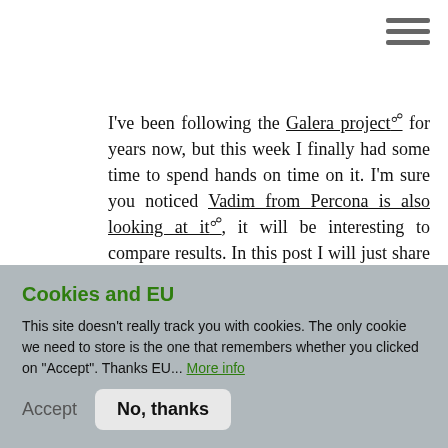[Figure (other): Hamburger menu icon (three horizontal lines) in top right corner]
I've been following the Galera project [ext] for years now, but this week I finally had some time to spend hands on time on it. I'm sure you noticed Vadim from Percona is also looking at it [ext], it will be interesting to compare results. In this post I will just share the experience of installing and configuring Galera.
Finding the information
Privacy settings
Cookies and EU
This site doesn't really track you with cookies. The only cookie we need to store is the one that remembers whether you clicked on "Accept". Thanks EU... More info
Accept   No, thanks